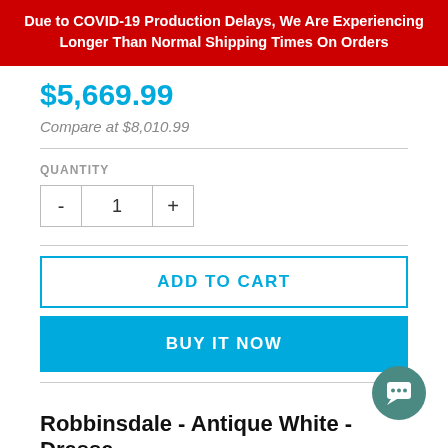Due to COVID-19 Production Delays, We Are Experiencing Longer Than Normal Shipping Times On Orders
$5,669.99
Compare at $8,010.99
QUANTITY
- 1 +
ADD TO CART
BUY IT NOW
Robbinsdale - Antique White - Dresser
Dimensions    65.5"W x 18"D x 40"H
Weight        see all